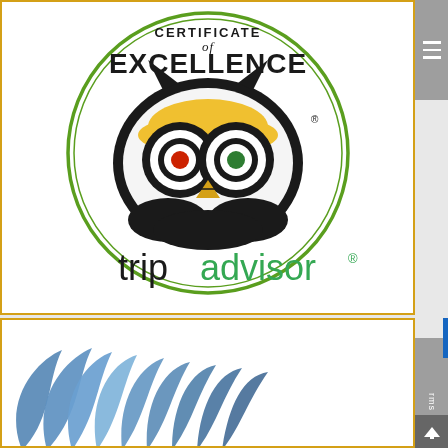[Figure (logo): TripAdvisor Certificate of Excellence badge with owl logo, green circle border, and tripadvisor wordmark in black and green]
[Figure (logo): Partial logo with blue leaf/feather decorative elements at the bottom of the page]